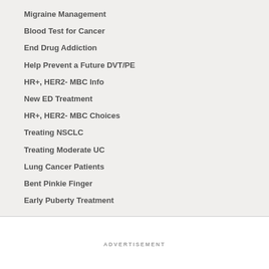Migraine Management
Blood Test for Cancer
End Drug Addiction
Help Prevent a Future DVT/PE
HR+, HER2- MBC Info
New ED Treatment
HR+, HER2- MBC Choices
Treating NSCLC
Treating Moderate UC
Lung Cancer Patients
Bent Pinkie Finger
Early Puberty Treatment
ADVERTISEMENT